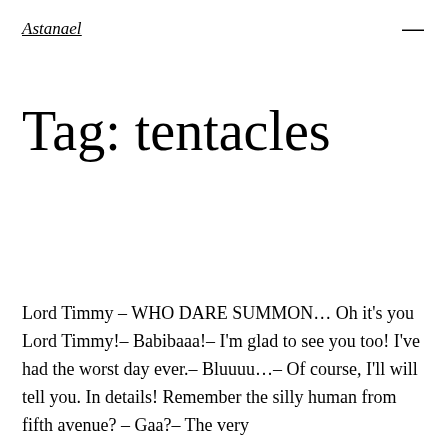Astanael  ☰
Tag: tentacles
Lord Timmy – WHO DARE SUMMON… Oh it's you Lord Timmy!– Babibaaa!– I'm glad to see you too! I've had the worst day ever.– Bluuuu…– Of course, I'll will tell you. In details! Remember the silly human from fifth avenue? – Gaa?– The very